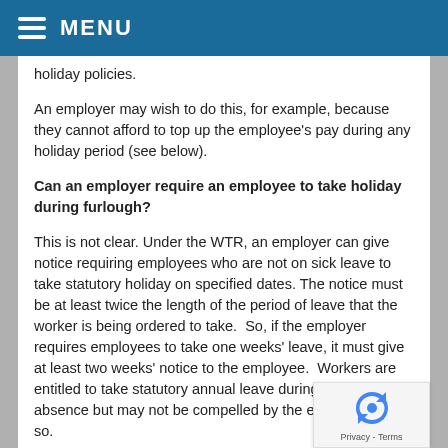MENU
holiday policies.
An employer may wish to do this, for example, because they cannot afford to top up the employee's pay during any holiday period (see below).
Can an employer require an employee to take holiday during furlough?
This is not clear. Under the WTR, an employer can give notice requiring employees who are not on sick leave to take statutory holiday on specified dates. The notice must be at least twice the length of the period of leave that the worker is being ordered to take.  So, if the employer requires employees to take one weeks' leave, it must give at least two weeks' notice to the employee.  Workers are entitled to take statutory annual leave during sickness absence but may not be compelled by the employer to do so.
These notice provisions can be amended or disapplied, but only by a “relevant agreement”, which means a written contract (including an employment contract), a collective agreement that is incorporated into the employees’ contract, or a